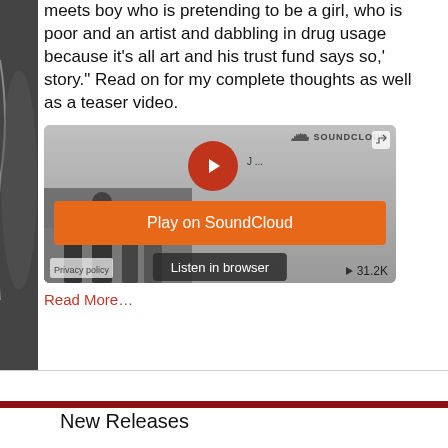meets boy who is pretending to be a girl, who is poor and an artist and dabbling in drug usage because it's all art and his trust fund says so,' story." Read on for my complete thoughts as well as a teaser video.
[Figure (screenshot): SoundCloud embedded player widget showing a Play on SoundCloud orange button, a Listen in browser dark button, a black and white photo of people, Privacy policy label, and 31.2K play count.]
Read More…
New Releases